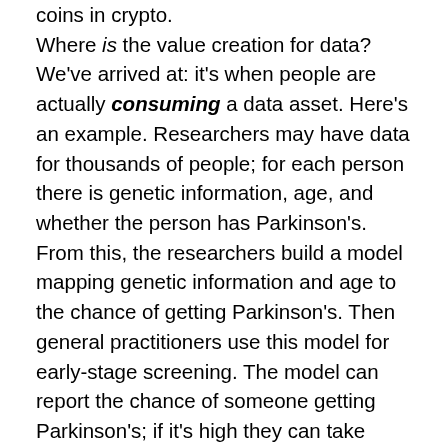coins in crypto. Where is the value creation for data? We've arrived at: it's when people are actually consuming a data asset. Here's an example. Researchers may have data for thousands of people; for each person there is genetic information, age, and whether the person has Parkinson's. From this, the researchers build a model mapping genetic information and age to the chance of getting Parkinson's. Then general practitioners use this model for early-stage screening. The model can report the chance of someone getting Parkinson's; if it's high they can take measures to slow the onset. This is an example of value creation, via consuming data. There are countless examples across many verticals.